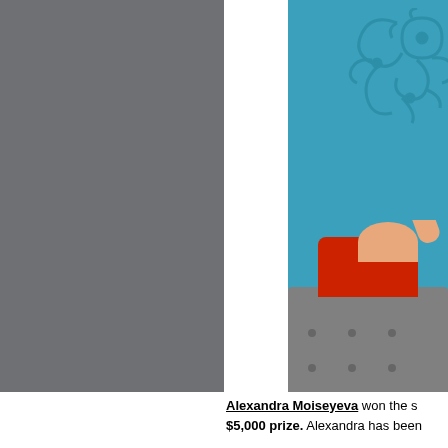[Figure (photo): Left half of page: gray rectangle placeholder. Right section: partial photo of a woman in a red outfit seated on a gray tufted couch against a blue wall with white ornamental molding, raising her hand/fist.]
Alexandra Moiseyeva won the s
$5,000 prize. Alexandra has been